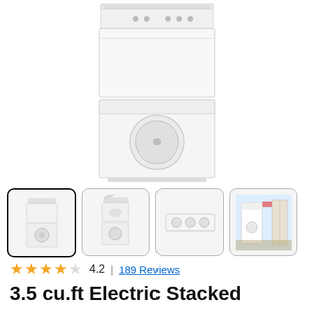[Figure (photo): Main product photo of white top-load laundry center / stacked washer-dryer unit on white background]
[Figure (photo): Thumbnail 1 (selected): front view of stacked washer-dryer unit]
[Figure (photo): Thumbnail 2: angled view of stacked washer-dryer unit with lid open]
[Figure (photo): Thumbnail 3: close-up of control panel]
[Figure (photo): Thumbnail 4: lifestyle photo showing unit installed in laundry room]
4.2  |  189 Reviews
3.5 cu.ft Electric Stacked